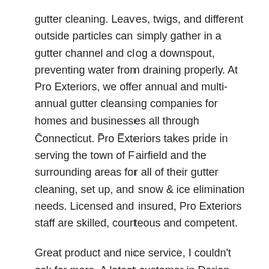gutter cleaning. Leaves, twigs, and different outside particles can simply gather in a gutter channel and clog a downspout, preventing water from draining properly. At Pro Exteriors, we offer annual and multi-annual gutter cleansing companies for homes and businesses all through Connecticut. Pro Exteriors takes pride in serving the town of Fairfield and the surrounding areas for all of their gutter cleaning, set up, and snow & ice elimination needs. Licensed and insured, Pro Exteriors staff are skilled, courteous and competent.
Great product and nice service, I couldn't ask for more. A latest customer in Darien, CT was having overflow issues with the gutters above the driveway. In this case, our first advice was to reroute the downspouts to empty more affectively from the gutter itself. In addition, the gutters were experiencing extreme overflow from leaf debris that was a continual problem due to the pine trees within